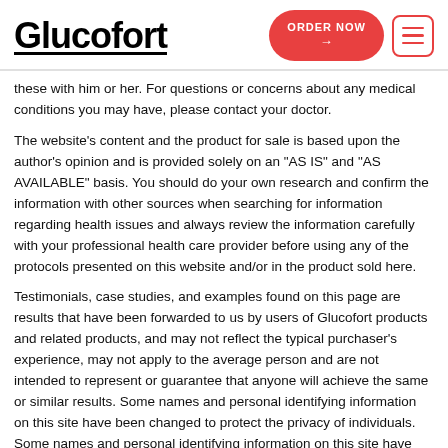Glucofort | ORDER NOW →
these with him or her. For questions or concerns about any medical conditions you may have, please contact your doctor.
The website's content and the product for sale is based upon the author's opinion and is provided solely on an "AS IS" and "AS AVAILABLE" basis. You should do your own research and confirm the information with other sources when searching for information regarding health issues and always review the information carefully with your professional health care provider before using any of the protocols presented on this website and/or in the product sold here.
Testimonials, case studies, and examples found on this page are results that have been forwarded to us by users of Glucofort products and related products, and may not reflect the typical purchaser's experience, may not apply to the average person and are not intended to represent or guarantee that anyone will achieve the same or similar results. Some names and personal identifying information on this site have been changed to protect the privacy of individuals. Some names and personal identifying information on this site have been changed to protect the privacy of individuals.